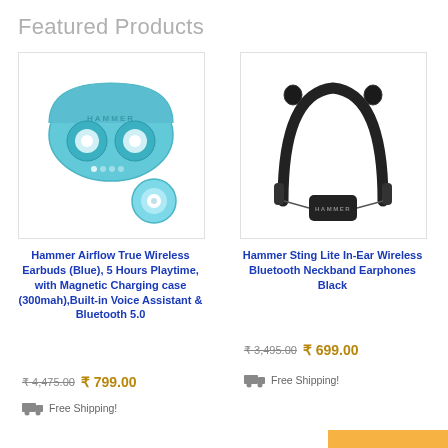Featured Products
[Figure (photo): Hammer Airflow True Wireless Earbuds in blue carrying case with one earbud removed, product photo on white background]
Hammer Airflow True Wireless Earbuds (Blue), 5 Hours Playtime, with Magnetic Charging case (300mah),Built-in Voice Assistant & Bluetooth 5.0
₹ 4,475.00  ₹ 799.00
Free Shipping!
[Figure (photo): Hammer Sting Lite In-Ear Wireless Bluetooth Neckband Earphones in black, product photo on white background]
Hammer Sting Lite In-Ear Wireless Bluetooth Neckband Earphones Black
₹ 3,495.00  ₹ 699.00
Free Shipping!